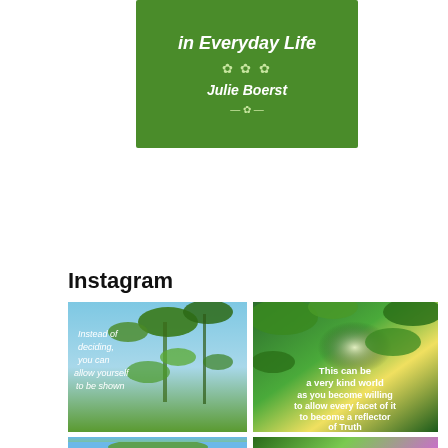[Figure (photo): Book cover with green background showing title 'in Everyday Life' and author name 'Julie Boerst']
Instagram
[Figure (photo): Instagram photo of green plants against blue sky with text overlay: 'Instead of deciding, you can allow yourself to be shown']
[Figure (photo): Instagram photo of green plants with sunlight with text overlay: 'This can be a very kind world as you become willing to allow every facet of it to become a reflector of Truth']
[Figure (photo): Instagram photo of green plants with yellow flowers against blue sky]
[Figure (photo): Instagram photo of pink flowers with text overlay: 'You are always surrounded by friends, even when you have given them the']